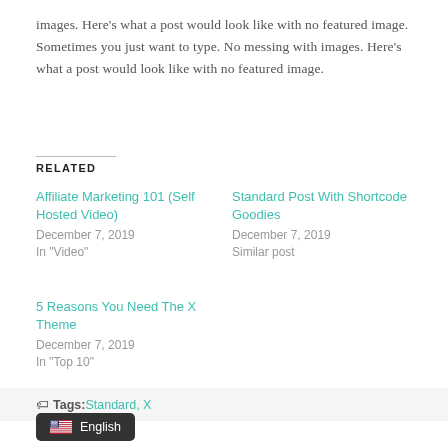images. Here's what a post would look like with no featured image. Sometimes you just want to type. No messing with images. Here's what a post would look like with no featured image.
RELATED
Affiliate Marketing 101 (Self Hosted Video)
December 7, 2019
In "Video"
Standard Post With Shortcode Goodies
December 7, 2019
Similar post
5 Reasons You Need The X Theme
December 7, 2019
In "Top 10"
Tags: Standard, X
English